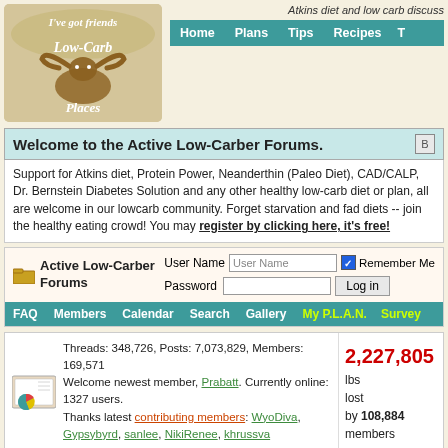[Figure (logo): I've got friends in Low-Carb Places logo with longhorn cattle and decorative text]
Atkins diet and low carb discuss
Home  Plans  Tips  Recipes  T
Welcome to the Active Low-Carber Forums.
Support for Atkins diet, Protein Power, Neanderthin (Paleo Diet), CAD/CALP, Dr. Bernstein Diabetes Solution and any other healthy low-carb diet or plan, all are welcome in our lowcarb community. Forget starvation and fad diets -- join the healthy eating crowd! You may register by clicking here, it's free!
Active Low-Carber Forums
| User Name | Password |
| --- | --- |
| User Name field | Log in button |
FAQ  Members  Calendar  Search  Gallery  My P.L.A.N.  Survey
Threads: 348,726, Posts: 7,073,829, Members: 169,571 Welcome newest member, Prabatt. Currently online: 1327 users. Thanks latest contributing members: WyoDiva, Gypsybyrd, sanlee, NikiRenee, khrussva
2,227,805 lbs lost by 108,884 members